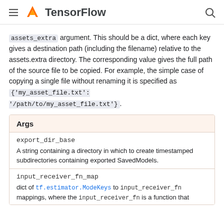TensorFlow
assets_extra argument. This should be a dict, where each key gives a destination path (including the filename) relative to the assets.extra directory. The corresponding value gives the full path of the source file to be copied. For example, the simple case of copying a single file without renaming it is specified as {'my_asset_file.txt': '/path/to/my_asset_file.txt'}.
| Args |
| --- |
| export_dir_base | A string containing a directory in which to create timestamped subdirectories containing exported SavedModels. |
| input_receiver_fn_map | dict of tf.estimator.ModeKeys to input_receiver_fn mappings, where the input_receiver_fn is a function that |